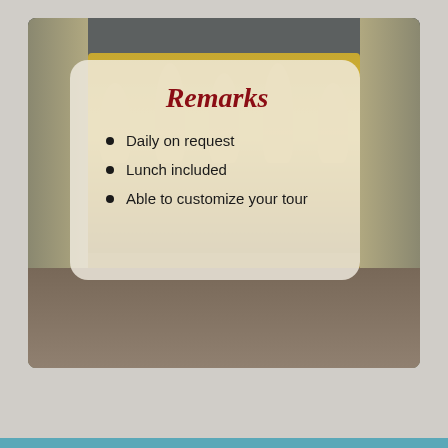[Figure (photo): Interior of a Buddhist temple with golden Buddha statues on an altar; people kneeling/prostrating in worship on the floor in front of the altar.]
Remarks
Daily on request
Lunch included
Able to customize your tour